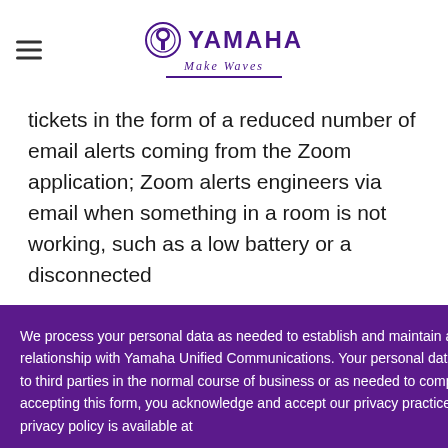Yamaha Make Waves
tickets in the form of a reduced number of email alerts coming from the Zoom application; Zoom alerts engineers via email when something in a room is not working, such as a low battery or a disconnected
...rally fixed all our ...ed.
We process your personal data as needed to establish and maintain a business relationship with Yamaha Unified Communications. Your personal data may be disclosed to third parties in the normal course of business or as needed to comply with law. By accepting this form, you acknowledge and accept our privacy practices. Our complete privacy policy is available at Privacy Policy
RY
[Figure (illustration): Email envelope icon in white circle on purple background]
I DISAGREE
I AGREE